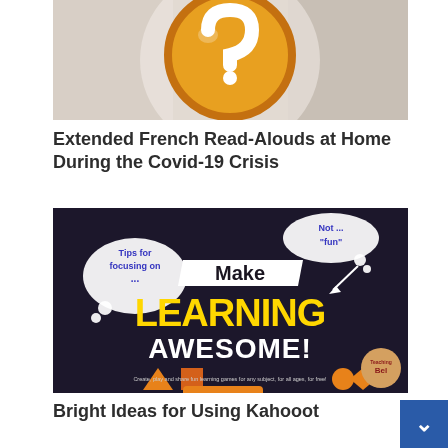[Figure (photo): Blurred orange question mark emoji on a beige/brown background, partially visible, cropped at top]
Extended French Read-Alouds at Home During the Covid-19 Crisis
[Figure (screenshot): Kahoot promotional image with dark background showing 'Tips for focusing on...' speech bubble on left, 'Not ..fun' speech bubble on top right, 'Make LEARNING AWESOME!' text in yellow/white, geometric shapes, and Kahoot logo bottom right with 'Create, play and share fun learning games for any subject, for all ages, for free!']
Bright Ideas for Using Kahooot